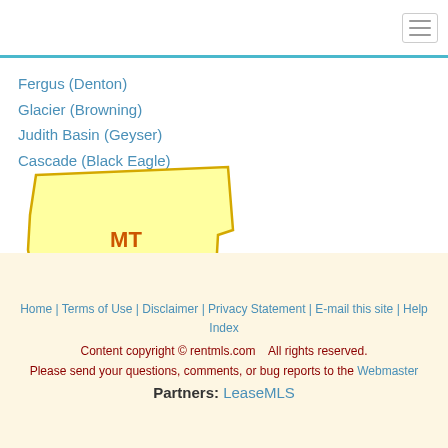Navigation menu
Fergus (Denton)
Glacier (Browning)
Judith Basin (Geyser)
Cascade (Black Eagle)
[Figure (map): Outline map of Montana state shape filled with light yellow, labeled MT in orange text]
Home | Terms of Use | Disclaimer | Privacy Statement | E-mail this site | Help Index
Content copyright © rentmls.com   All rights reserved.
Please send your questions, comments, or bug reports to the Webmaster
Partners: LeaseMLS